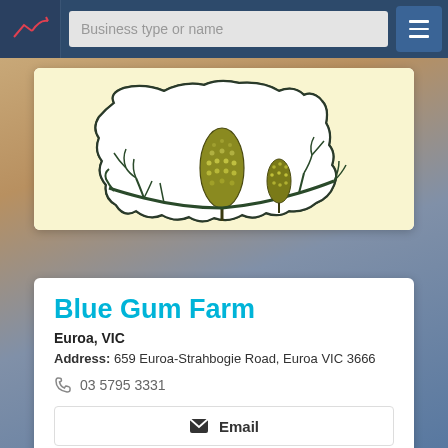Business type or name
[Figure (illustration): Illustration of Australian map outline with banksia flowers and foliage on a cream/yellow background]
Blue Gum Farm
Euroa, VIC
Address: 659 Euroa-Strahbogie Road, Euroa VIC 3666
03 5795 3331
Email